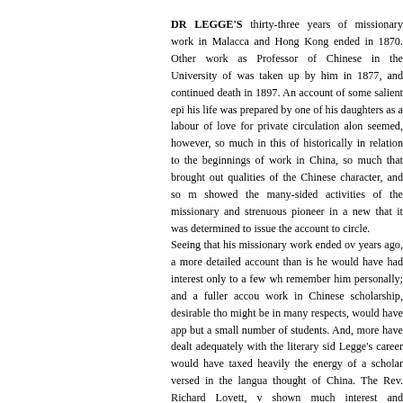DR LEGGE'S thirty-three years of missionary work in Malacca and Hong Kong ended in 1870. Other work as Professor of Chinese in the University of Oxford was taken up by him in 1877, and continued until his death in 1897. An account of some salient episodes of his life was prepared by one of his daughters, primarily as a labour of love for private circulation alone. There seemed, however, so much in this of interest historically in relation to the beginnings of missionary work in China, so much that brought out the good qualities of the Chinese character, and so much that showed the many-sided activities of the devoted missionary and strenuous pioneer in a new field, that it was determined to issue the account to a wider circle.
Seeing that his missionary work ended over fifty years ago, a more detailed account than is here given would have had interest only to a few who could remember him personally; and a fuller account of his work in Chinese scholarship, desirable though that might be in many respects, would have appealed to but a small number of students. And, moreover, to have dealt adequately with the literary side of Legge's career would have taxed heavily the time and energy of a scholar versed in the language and thought of China. The Rev. Richard Lovett, who has shown much interest and sympathy in the pre...